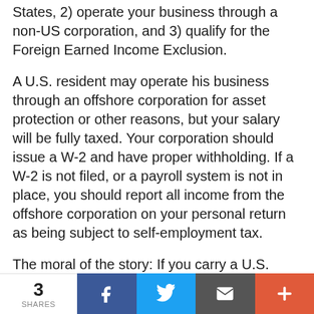States, 2) operate your business through a non-US corporation, and 3) qualify for the Foreign Earned Income Exclusion.
A U.S. resident may operate his business through an offshore corporation for asset protection or other reasons, but your salary will be fully taxed. Your corporation should issue a W-2 and have proper withholding. If a W-2 is not filed, or a payroll system is not in place, you should report all income from the offshore corporation on your personal return as being subject to self-employment tax.
The moral of the story: If you carry a U.S. passport, your offshore corporation or international asset protection structure
3 SHARES  [Facebook] [Twitter] [Email] [+]